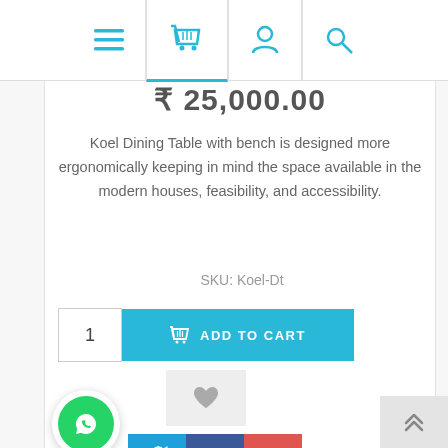[Figure (screenshot): Navigation bar with hamburger menu, shopping basket, user profile, and search icons in cyan/teal color]
₹25,000.00
Koel Dining Table with bench is designed more ergonomically keeping in mind the space available in the modern houses, feasibility, and accessibility.
SKU: Koel-Dt
[Figure (other): Quantity input box showing 1 and Add to Cart button in cyan]
[Figure (other): Wishlist heart icon button]
[Figure (other): WhatsApp contact button (green circle with phone icon)]
[Figure (other): Social share buttons: Twitter (blue), Facebook (dark blue), Pinterest (red)]
[Figure (other): Back to top button with double up chevron]